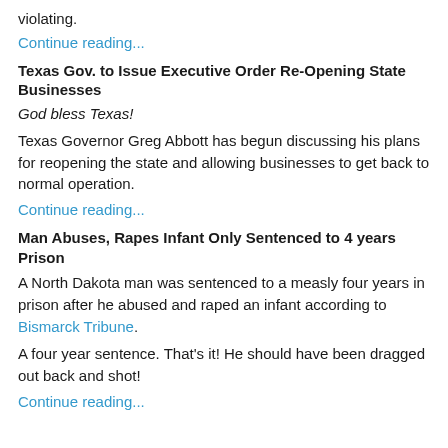violating.
Continue reading...
Texas Gov. to Issue Executive Order Re-Opening State Businesses
God bless Texas!
Texas Governor Greg Abbott has begun discussing his plans for reopening the state and allowing businesses to get back to normal operation.
Continue reading...
Man Abuses, Rapes Infant Only Sentenced to 4 years Prison
A North Dakota man was sentenced to a measly four years in prison after he abused and raped an infant according to Bismarck Tribune.
A four year sentence. That's it! He should have been dragged out back and shot!
Continue reading...